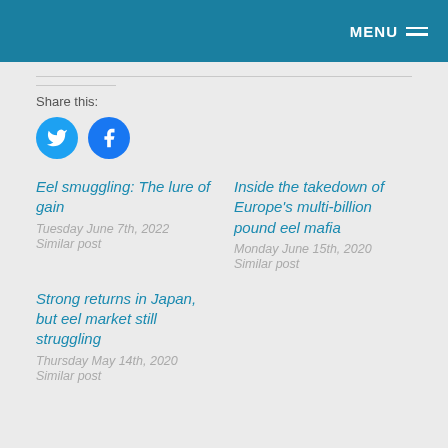MENU
Share this:
Eel smuggling: The lure of gain
Tuesday June 7th, 2022
Similar post
Inside the takedown of Europe's multi-billion pound eel mafia
Monday June 15th, 2020
Similar post
Strong returns in Japan, but eel market still struggling
Thursday May 14th, 2020
Similar post